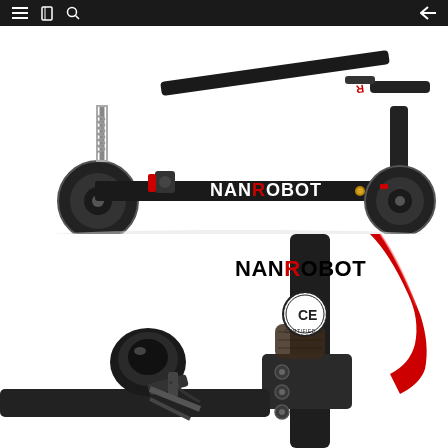navigation bar with menu, bookmark, search icons and back arrow
[Figure (photo): NANROBOT electric scooter folded, shown in side profile view against white background. Black frame with NANROBOT branding in white and red letters on the deck.]
[Figure (photo): Close-up of NANROBOT electric scooter handlebar area showing headlight, folding mechanism, brake lever in red, and bolted clamp. NANROBOT logo and CE certification badge visible in upper right.]